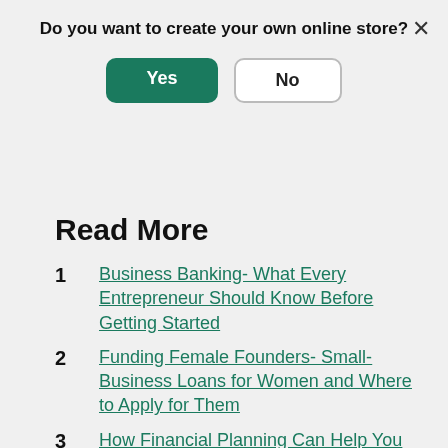Do you want to create your own online store?
Yes
No
Read More
Business Banking- What Every Entrepreneur Should Know Before Getting Started
Funding Female Founders- Small-Business Loans for Women and Where to Apply for Them
How Financial Planning Can Help You Achieve Your Business Growth Goals
How to Get a Small Business Loan